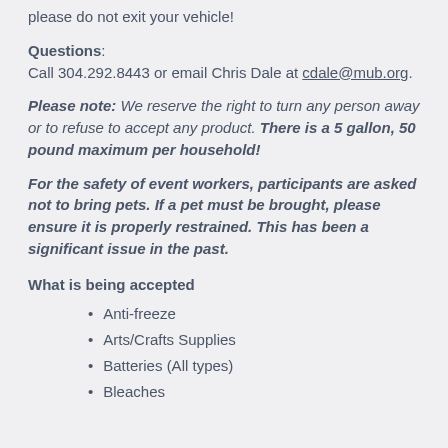please do not exit your vehicle!
Questions:
Call 304.292.8443 or email Chris Dale at cdale@mub.org.
Please note: We reserve the right to turn any person away or to refuse to accept any product. There is a 5 gallon, 50 pound maximum per household!
For the safety of event workers, participants are asked not to bring pets. If a pet must be brought, please ensure it is properly restrained. This has been a significant issue in the past.
What is being accepted
Anti-freeze
Arts/Crafts Supplies
Batteries (All types)
Bleaches